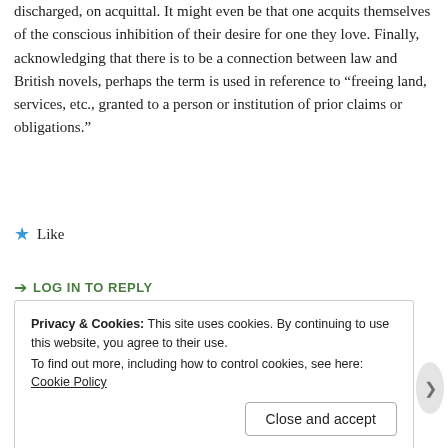discharged, on acquittal. It might even be that one acquits themselves of the conscious inhibition of their desire for one they love. Finally, acknowledging that there is to be a connection between law and British novels, perhaps the term is used in reference to “freeing land, services, etc., granted to a person or institution of prior claims or obligations.”
★ Like
➤ LOG IN TO REPLY
Privacy & Cookies: This site uses cookies. By continuing to use this website, you agree to their use. To find out more, including how to control cookies, see here: Cookie Policy
Close and accept